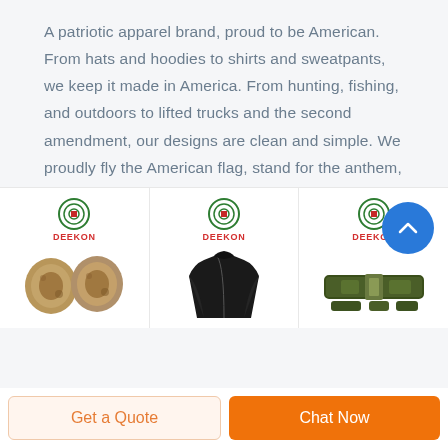A patriotic apparel brand, proud to be American. From hats and hoodies to shirts and sweatpants, we keep it made in America. From hunting, fishing, and outdoors to lifted trucks and the second amendment, our designs are clean and simple. We proudly fly the American flag, stand for the anthem, and back the blue line
READ MORE
[Figure (photo): Three product thumbnails side by side showing DEEKON brand items: knee pads in tan/camo, a black tactical jacket, and green military belt/gear. Each has the DEEKON logo with icon at top.]
Get a Quote
Chat Now